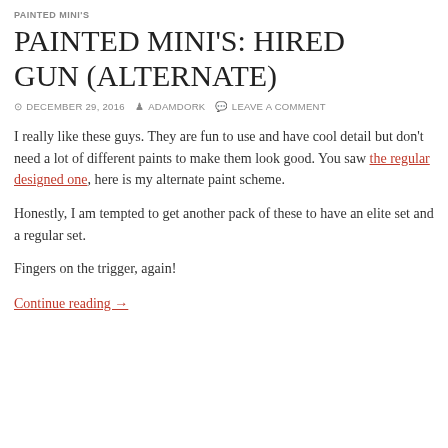PAINTED MINI'S
PAINTED MINI'S: HIRED GUN (ALTERNATE)
DECEMBER 29, 2016  ADAMDORK  LEAVE A COMMENT
I really like these guys. They are fun to use and have cool detail but don't need a lot of different paints to make them look good. You saw the regular designed one, here is my alternate paint scheme.
Honestly, I am tempted to get another pack of these to have an elite set and a regular set.
Fingers on the trigger, again!
Continue reading →